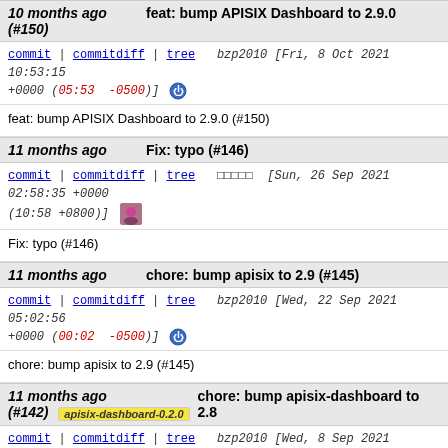10 months ago — feat: bump APISIX Dashboard to 2.9.0 (#150)
commit | commitdiff | tree bzp2010 [Fri, 8 Oct 2021 10:53:15 +0000 (05:53 -0500)]
feat: bump APISIX Dashboard to 2.9.0 (#150)
11 months ago — Fix: typo (#146)
commit | commitdiff | tree ????? [Sun, 26 Sep 2021 02:58:35 +0000 (10:58 +0800)]
Fix: typo (#146)
11 months ago — chore: bump apisix to 2.9 (#145)
commit | commitdiff | tree bzp2010 [Wed, 22 Sep 2021 05:02:56 +0000 (00:02 -0500)]
chore: bump apisix to 2.9 (#145)
11 months ago — chore: bump apisix-dashboard to 2.8 (#142) apisix-dashboard-0.2.0
commit | commitdiff | tree bzp2010 [Wed, 8 Sep 2021 06:40:51 +0000 (01:40 -0500)]